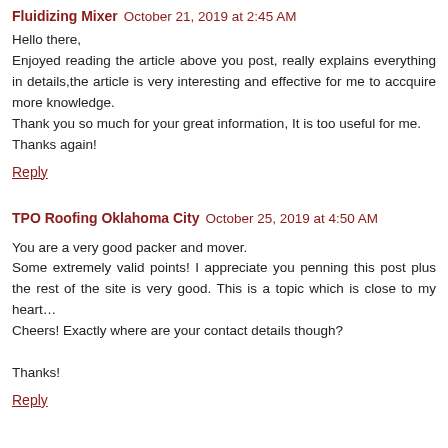Fluidizing Mixer October 21, 2019 at 2:45 AM
Hello there,
Enjoyed reading the article above you post, really explains everything in details,the article is very interesting and effective for me to accquire more knowledge.
Thank you so much for your great information, It is too useful for me.
Thanks again!
Reply
TPO Roofing Oklahoma City October 25, 2019 at 4:50 AM
You are a very good packer and mover.
Some extremely valid points! I appreciate you penning this post plus the rest of the site is very good. This is a topic which is close to my heart…
Cheers! Exactly where are your contact details though?

Thanks!
Reply